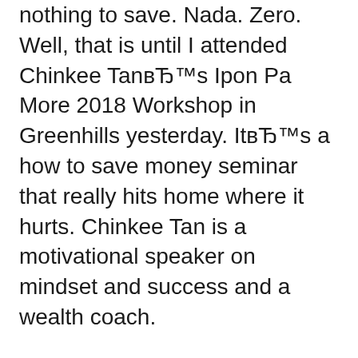nothing to save. Nada. Zero. Well, that is until I attended Chinkee TanвЂ™s Ipon Pa More 2018 Workshop in Greenhills yesterday. ItвЂ™s a how to save money seminar that really hits home where it hurts. Chinkee Tan is a motivational speaker on mindset and success and a wealth coach.
Apr 29, 2018В В· Bakit nga ba ang perang pinaghirapan ay parang natatapon? Hindi ka nga ba marunong mag-ipon? Alamin ang mga dahilan kung bakit wala ka pa ring ipon by watching this video now! ORDER MY вЂ¦ But, really, in my mind, thereвЂ™s just nothing to save. Nada. Zero. Well, that is until I attended Chinkee TanвЂ™s